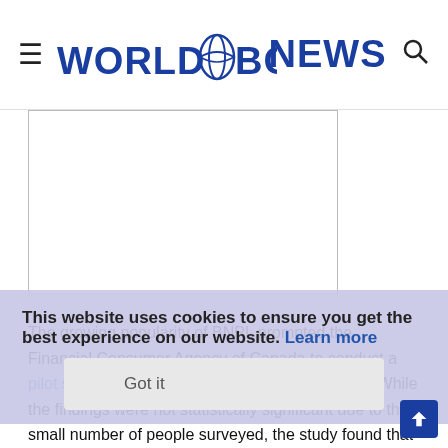World ABC News
[Figure (other): Advertisement placeholder box (empty white rectangle with border)]
The growing popularity of BNPL prompted the Financial Consumer Agency of Canada to conduct a pilot study last year on the use of these services. While the findings were not statistically significant due to the small number of people surveyed, the study found that of those surveyed, young consumers between the ages of 18 and 34 use online BNPL services the most.
This website uses cookies to ensure you get the best experience on our website. Learn more
Got it
The top reasons why consumers turned to these services were budgeting, inability to pay the full price of a good or service,